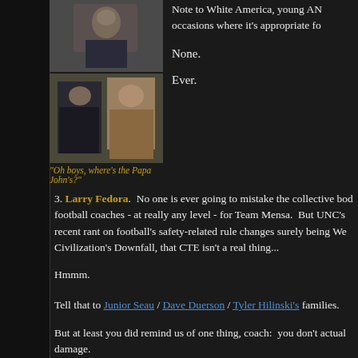[Figure (photo): Two photos stacked: top photo shows a person in dark clothing outdoors, bottom photo shows two people outdoors near rocks]
"Oh boys, where's the Papa John's?"
Note to White America, young AN occasions where it's appropriate fo
None.
Ever.
3. Larry Fedora.  No one is ever going to mistake the collective body of football coaches - at really any level - for Team Mensa.  But UNC's recent rant on football's safety-related rule changes surely being Western Civilization's Downfall, that CTE isn't a real thing...
Hmmm.
Tell that to Junior Seau / Dave Duerson / Tyler Hilinski's families.
But at least you did remind us of one thing, coach:  you don't actually damage.